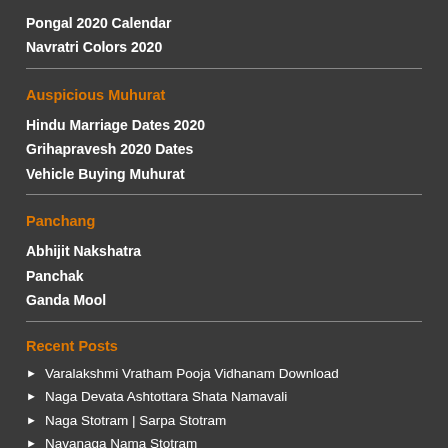Pongal 2020 Calendar
Navratri Colors 2020
Auspicious Muhurat
Hindu Marriage Dates 2020
Grihapravesh 2020 Dates
Vehicle Buying Muhurat
Panchang
Abhijit Nakshatra
Panchak
Ganda Mool
Recent Posts
Varalakshmi Vratham Pooja Vidhanam Download
Naga Devata Ashtottara Shata Namavali
Naga Stotram | Sarpa Stotram
Navanaga Nama Stotram